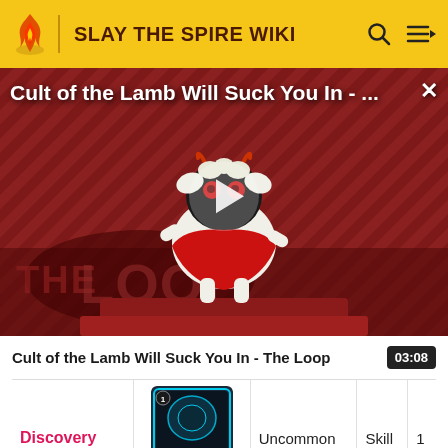SLAY THE SPIRE WIKI
[Figure (screenshot): Video thumbnail for 'Cult of the Lamb Will Suck You In - The Loop' showing a cartoon lamb character with red eyes on a striped red/black background with 'THE LOOP' text and a play button overlay.]
Cult of the Lamb Will Suck You In - The Loop  03:08
| Name | Image | Rarity | Type | Cost |
| --- | --- | --- | --- | --- |
| Discovery | [card image] | Uncommon | Skill | 1 |